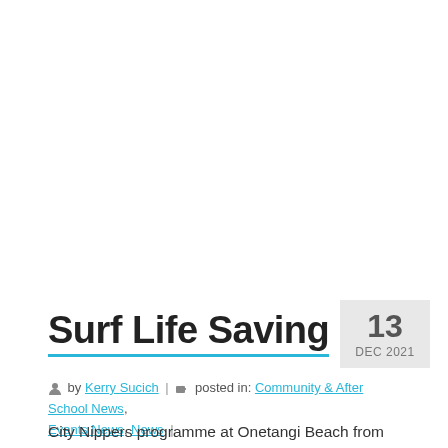Surf Life Saving
13 DEC 2021
by Kerry Sucich | posted in: Community & After School News, Events News, News |
City Nippers programme at Onetangi Beach from the